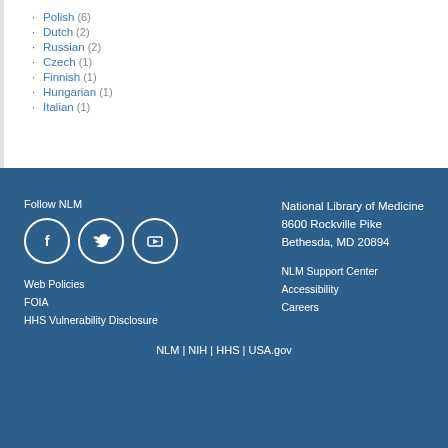Polish (6)
Dutch (2)
Russian (2)
Czech (1)
Finnish (1)
Hungarian (1)
Italian (1)
Follow NLM
Web Policies
FOIA
HHS Vulnerability Disclosure
National Library of Medicine
8600 Rockville Pike
Bethesda, MD 20894
NLM Support Center
Accessibility
Careers
NLM | NIH | HHS | USA.gov